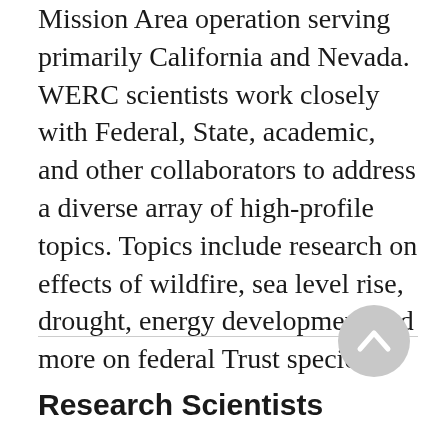Mission Area operation serving primarily California and Nevada. WERC scientists work closely with Federal, State, academic, and other collaborators to address a diverse array of high-profile topics. Topics include research on effects of wildfire, sea level rise, drought, energy development and more on federal Trust species.
[Figure (other): Circular scroll-to-top button with upward-pointing chevron arrow, light gray background]
Research Scientists